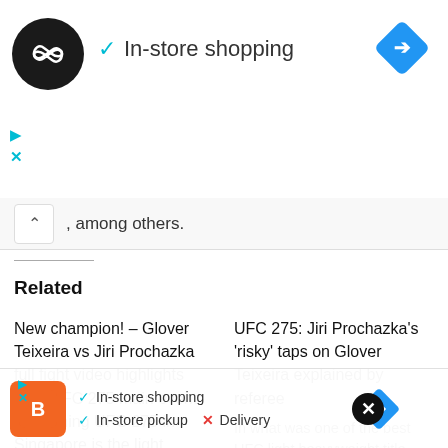[Figure (screenshot): Top ad banner with circular black logo with infinity/loop arrows symbol, cyan checkmark, 'In-store shopping' text, and blue navigation diamond icon on right. Cyan play and close buttons at bottom left.]
, among others.
Related
New champion! – Glover Teixeira vs Jiri Prochazka full fight video highlights from UFC 275 main event Headlining UFC 275 in Singapore is the light heavyweight title bout between Glover Teixeira and Jiri Prochazka. It was
UFC 275: Jiri Prochazka's 'risky' taps on Glover Teixeira explained by referee In what was one of the best UFC light heavyweight title bouts to date, Glover Teixeira and Jiri Prochazka constantly
[Figure (screenshot): Bottom ad overlay with orange Boost Mobile logo, cyan checkmarks for 'In-store shopping' and 'In-store pickup', red X and 'Delivery' text, blue navigation diamond, black close circle with X.]